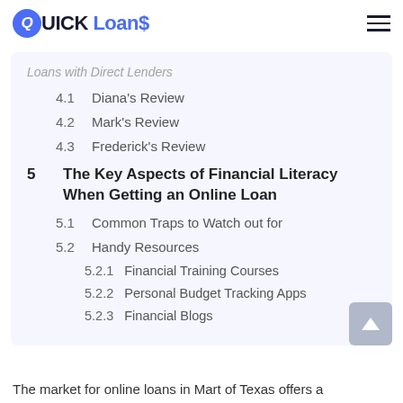QUICK Loans
Loans with Direct Lenders (partially visible)
4.1  Diana's Review
4.2  Mark's Review
4.3  Frederick's Review
5  The Key Aspects of Financial Literacy When Getting an Online Loan
5.1  Common Traps to Watch out for
5.2  Handy Resources
5.2.1  Financial Training Courses
5.2.2  Personal Budget Tracking Apps
5.2.3  Financial Blogs
The market for online loans in Mart of Texas offers a